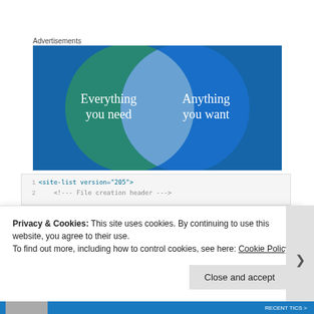Advertisements
[Figure (illustration): Venn diagram advertisement with two overlapping circles on a blue/teal background. Left circle (teal/green) contains text 'Everything you need'. Right circle (blue) contains text 'Anything you want'. The overlapping region is a lighter blue lens shape.]
<site-list version="205">
    <!--- File creation header --->
Privacy & Cookies: This site uses cookies. By continuing to use this website, you agree to their use.
To find out more, including how to control cookies, see here: Cookie Policy
Close and accept